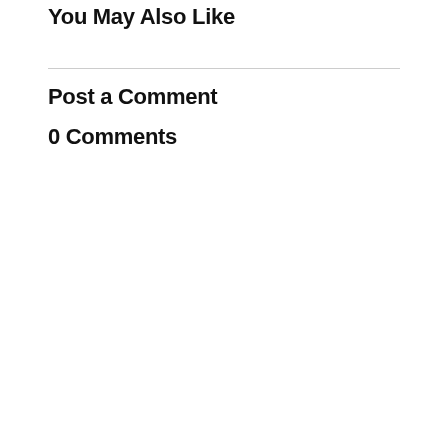You May Also Like
Post a Comment
0 Comments